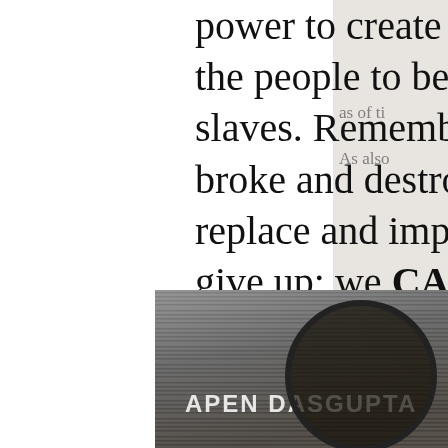power to create change. They want the people to be disempowered slaves. Remember that what they broke and destroyed, we can repair, replace and improve. Never, ever give up: we CAN make America great again.
Dangerous Rhetoric
[Figure (screenshot): Social media post footer showing Facebook share icon, link icon, view count of 19, and 2 likes (heart icon). Below is a photo of a newspaper with a magnifying glass, partially showing text 'APEN DASGUPTA' and 'WRONG' in red.]